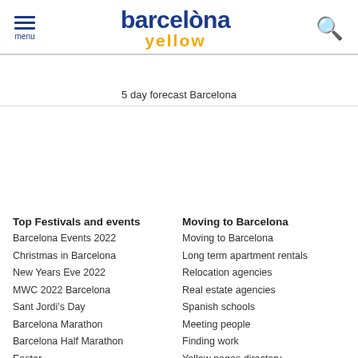barcelona yellow — menu — search
5 day forecast Barcelona
Top Festivals and events
Barcelona Events 2022
Christmas in Barcelona
New Years Eve 2022
MWC 2022 Barcelona
Sant Jordi's Day
Barcelona Marathon
Barcelona Half Marathon
Easter
Festa de Gracia
La Merce Festival
FC Barcelona calendar
Moving to Barcelona
Moving to Barcelona
Long term apartment rentals
Relocation agencies
Real estate agencies
Spanish schools
Meeting people
Finding work
Yellow pages directory
Partner websites:
DayTripsBarcelona.com